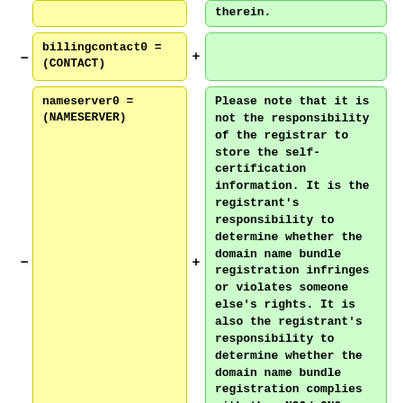therein.
billingcontact0 = (CONTACT)
+
nameserver0 = (NAMESERVER)
Please note that it is not the responsibility of the registrar to store the self-certification information. It is the registrant's responsibility to determine whether the domain name bundle registration infringes or violates someone else's rights. It is also the registrant's responsibility to determine whether the domain name bundle registration complies with the .NGO/.ONG registration policies.
nameserver1 = (NAMESERVER)
+
nameserver2 =
PIR conducts random